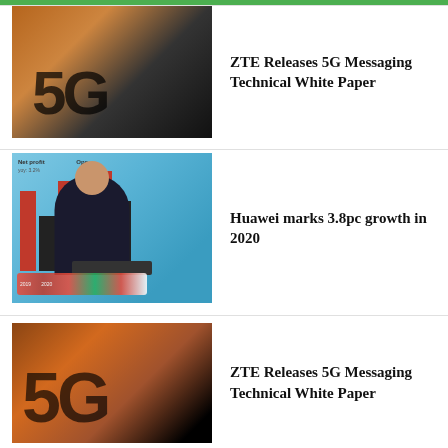[Figure (photo): 5G large metallic letters on orange/dark background, partially cropped at top]
ZTE Releases 5G Messaging Technical White Paper
[Figure (photo): Huawei executive speaking at podium in front of financial bar chart with red bars showing net profit growth, red and white flowers in foreground]
Huawei marks 3.8pc growth in 2020
[Figure (photo): 5G large dark letters on brown/orange background]
ZTE Releases 5G Messaging Technical White Paper